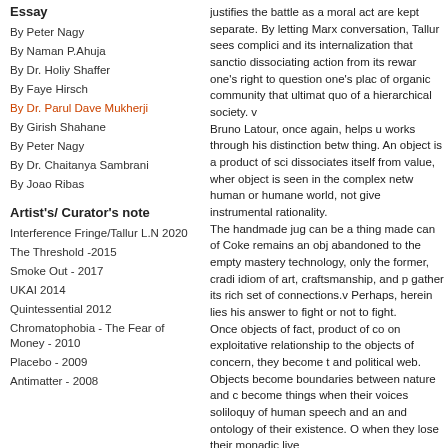Essay
By Peter Nagy
By Naman P.Ahuja
By Dr. Holiy Shaffer
By Faye Hirsch
By Dr. Parul Dave Mukherji
By Girish Shahane
By Peter Nagy
By Dr. Chaitanya Sambrani
By Joao Ribas
Artist's/ Curator's note
Interference Fringe/Tallur L.N 2020
The Threshold -2015
Smoke Out - 2017
UKAI 2014
Quintessential 2012
Chromatophobia - The Fear of Money - 2010
Placebo - 2009
Antimatter - 2008
justifies the battle as a moral act are kept separate. By letting Marx conversation, Tallur sees complici and its internalization that sanctio dissociating action from its rewar one's right to question one's plac of organic community that ultimat quo of a hierarchical society. v Bruno Latour, once again, helps u works through his distinction betw thing. An object is a product of sci dissociates itself from value, wher object is seen in the complex netw human or humane world, not give instrumental rationality. The handmade jug can be a thing made can of Coke remains an obj abandoned to the empty mastery technology, only the former, cradi idiom of art, craftsmanship, and p gather its rich set of connections.v Perhaps, herein lies his answer to fight or not to fight. Once objects of fact, product of co on exploitative relationship to the objects of concern, they become t and political web. Objects become boundaries between nature and c become things when their voices soliloquy of human speech and an and ontology of their existence. O when they lose their monadic live